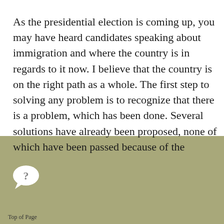As the presidential election is coming up, you may have heard candidates speaking about immigration and where the country is in regards to it now. I believe that the country is on the right path as a whole. The first step to solving any problem is to recognize that there is a problem, which has been done. Several solutions have already been proposed, none of which have been passed because of the
[Figure (illustration): Speech bubble icon with question mark, white on olive/tan background]
Top of Page